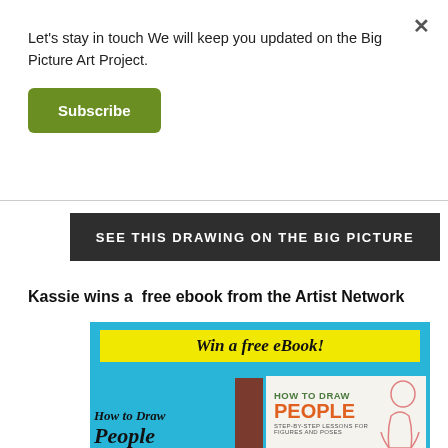Let's stay in touch We will keep you updated on the Big Picture Art Project.
Subscribe
SEE THIS DRAWING ON THE BIG PICTURE
Kassie wins a  free ebook from the Artist Network
[Figure (illustration): Promotional ebook banner for 'How to Draw People' with yellow and cyan background, showing two book covers and the text 'Win a free eBook!']